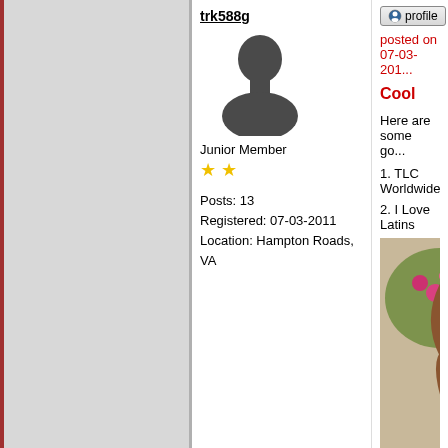trk588g
[Figure (illustration): Default user avatar silhouette - dark gray bust figure on white background]
Junior Member
★ ★
Posts: 13
Registered: 07-03-2011
Location: Hampton Roads, VA
[Figure (other): Profile and email buttons]
posted on 07-03-201...
Cool
Here are some go...
1. TLC Worldwide
2. I Love Latins
[Figure (photo): Photo of a smiling young woman with dark curly hair, outdoors with pink flowers visible in background]